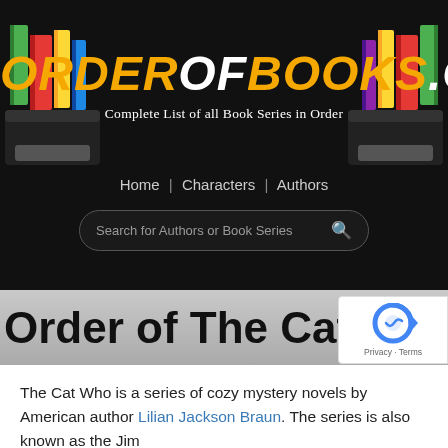[Figure (screenshot): OrderOfBooks.com website header banner with logo, colorful books on left and right, navigation links (Home | Characters | Authors), and a search box.]
Order of The Cat Who Books
[Figure (logo): Google reCAPTCHA badge with blue circular arrow logo and Privacy · Terms text]
The Cat Who is a series of cozy mystery novels by American author Lilian Jackson Braun. The series is also known as the Jim